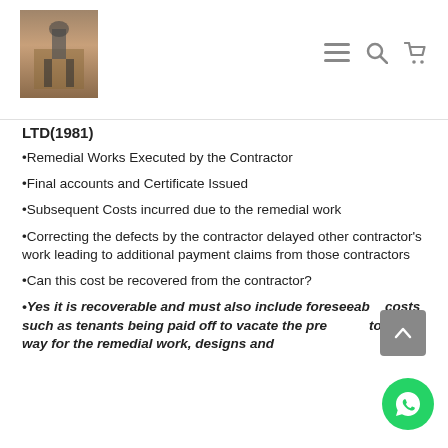[Logo and navigation icons]
LTD(1981)
Remedial Works Executed by the Contractor
Final accounts and Certificate Issued
Subsequent Costs incurred due to the remedial work
Correcting the defects by the contractor delayed other contractor's work leading to additional payment claims from those contractors
Can this cost be recovered from the contractor?
Yes it is recoverable and must also include foreseeable costs such as tenants being paid off to vacate the premises to make way for the remedial work, designs and